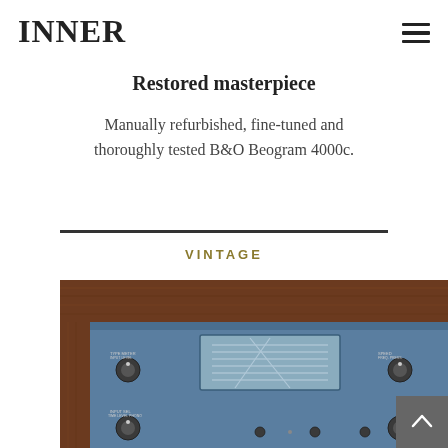INNER
Restored masterpiece
Manually refurbished, fine-tuned and thoroughly tested B&O Beogram 4000c.
VINTAGE
[Figure (photo): Photograph of a vintage B&O Beogram 4000c turntable/radio receiver with blue front panel, wooden frame, dials, knobs and a tuner display, viewed from above at an angle.]